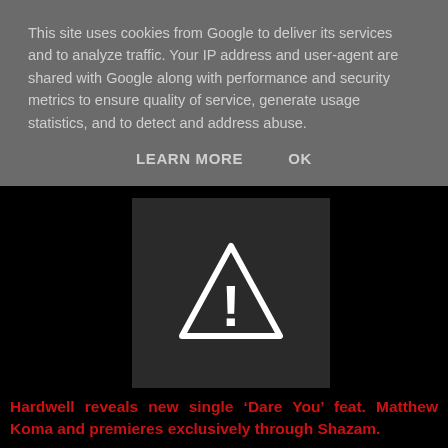This site uses cookies from Google to deliver its services and to analyze traffic. Your IP address and user-agent are shared with Google along with performance and security metrics to ensure quality of service, generate usage statistics, and to detect and address abuse.
LEARN MORE    OK
[Figure (illustration): Warning triangle icon with exclamation mark, white outline on dark gray background]
Hardwell reveals new single 'Dare You' feat. Matthew Koma and premieres exclusively through Shazam.
Recently crowned DJ Mag Top 100 #1 Hardwell is not resting on any laurels past this undeniable career landmark. He returns alongside North American songsmith Matthew Koma, beckoning a new direction from the Dutch icon and